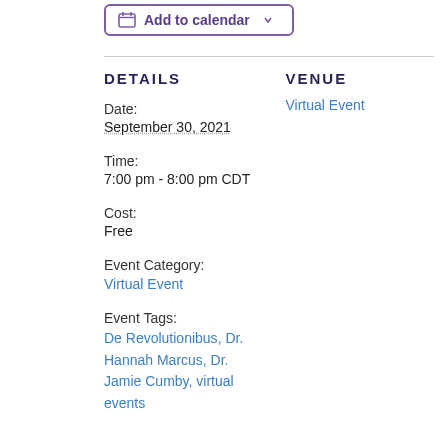Add to calendar
DETAILS
VENUE
Date:
September 30, 2021
Time:
7:00 pm - 8:00 pm CDT
Cost:
Free
Event Category:
Virtual Event
Event Tags:
De Revolutionibus, Dr. Hannah Marcus, Dr. Jamie Cumby, virtual events
Virtual Event